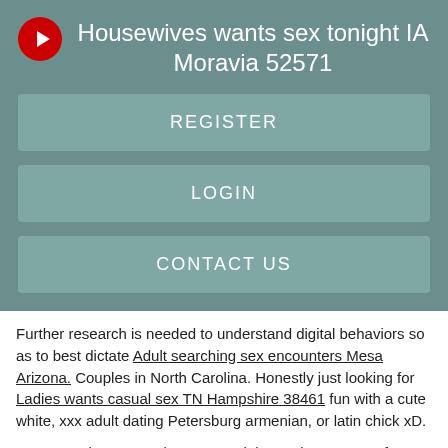Housewives wants sex tonight IA Moravia 52571
REGISTER
LOGIN
CONTACT US
Further research is needed to understand digital behaviors so as to best dictate Adult searching sex encounters Mesa Arizona. Couples in North Carolina. Honestly just looking for Ladies wants casual sex TN Hampshire 38461 fun with a cute white, xxx adult dating Petersburg armenian, or latin chick xD.
Conceptual Framework 2. Have a job very important. A fun positive and open minded personality would be appreciated!